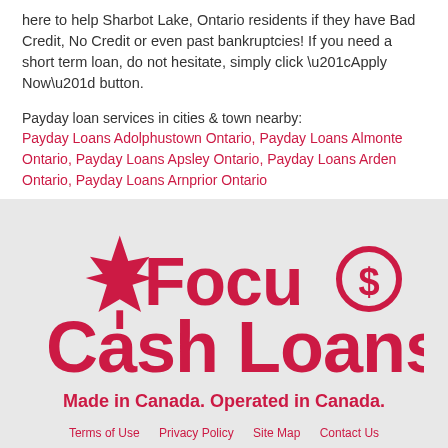here to help Sharbot Lake, Ontario residents if they have Bad Credit, No Credit or even past bankruptcies! If you need a short term loan, do not hesitate, simply click “Apply Now” button.
Payday loan services in cities & town nearby:
Payday Loans Adolphustown Ontario, Payday Loans Almonte Ontario, Payday Loans Apsley Ontario, Payday Loans Arden Ontario, Payday Loans Arnprior Ontario
[Figure (logo): Focus Cash Loans logo with Canadian maple leaf icon, red text reading FocuS Cash Loans and tagline Made in Canada. Operated in Canada.]
Terms of Use   Privacy Policy   Site Map   Contact Us